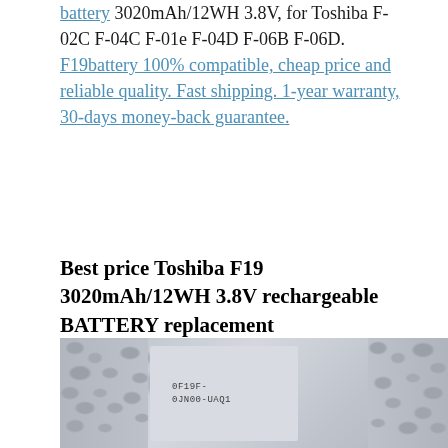battery 3020mAh/12WH 3.8V, for Toshiba F-02C F-04C F-01e F-04D F-06B F-06D. F19battery 100% compatible, cheap price and reliable quality. Fast shipping. 1-year warranty, 30-days money-back guarantee.
Best price Toshiba F19 3020mAh/12WH 3.8V rechargeable BATTERY replacement
[Figure (photo): Photo of a rectangular grey battery with label reading '0F19F-0JN00-UAQ1', placed on bubble wrap packaging material]